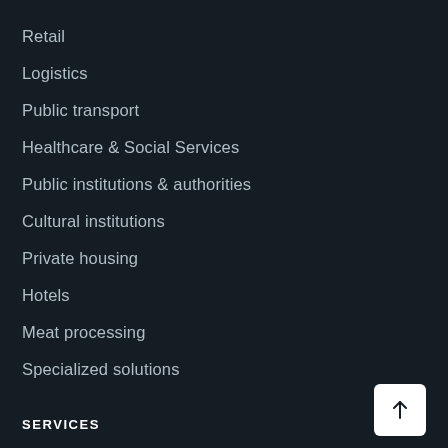Retail
Logistics
Public transport
Healthcare & Social Services
Public institutions & authorities
Cultural institutions
Private housing
Hotels
Meat processing
Specialized solutions
SERVICES